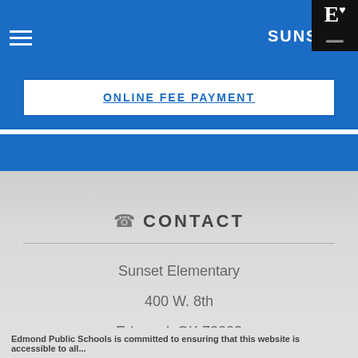SUNSET
ONLINE FEE PAYMENT
CONTACT
Sunset Elementary
400 W. 8th
Edmond, OK 73003
(405) 340-2990
Edmond Public Schools is committed to ensuring that this website is accessible to all...